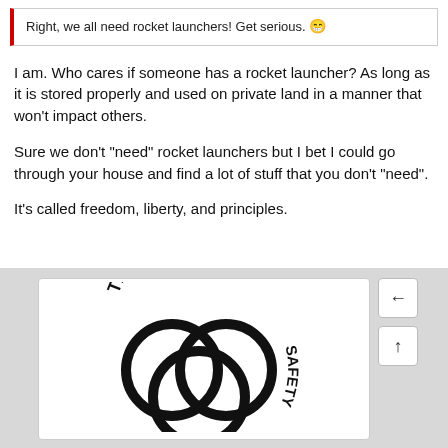Right, we all need rocket launchers! Get serious. 😁
I am. Who cares if someone has a rocket launcher? As long as it is stored properly and used on private land in a manner that won't impact others.
Sure we don't "need" rocket launchers but I bet I could go through your house and find a lot of stuff that you don't "need".
It's called freedom, liberty, and principles.
[Figure (logo): Security Training Safety logo: three interlocking rings/circles in black with text 'TRAINING', 'SAFETY', 'SECURITY' arranged in an arc around the rings.]